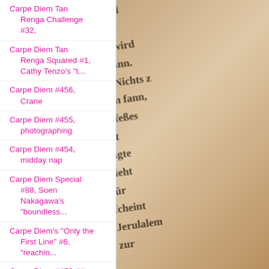Carpe Diem Tan Renga Challenge #32,
Carpe Diem Tan Renga Squared #1, Cathy Tenzo's "t...
Carpe Diem #456, Crane
Carpe Diem #455, photographing
Carpe Diem #454, midday nap
Carpe Diem Special #88, Soen Nakagawa's "boundless...
Carpe Diem's "Only the First Line" #6, "reachin...
Carpe Diem #453, kite
Carpe Diem #452, fishing
[Figure (photo): Close-up photograph of an old book page with Gothic/blackletter German text, warm sepia tones, shallow depth of field]